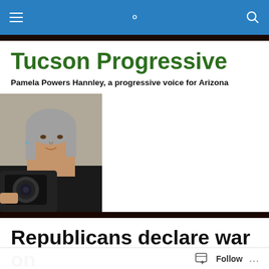Tucson Progressive
Pamela Powers Hannley, a progressive voice for Arizona
[Figure (photo): Woman with gray hair holding a camera in a mirror selfie, wearing a black top, with a blue ring visible on her finger.]
Republicans declare war on women. So what else is n…